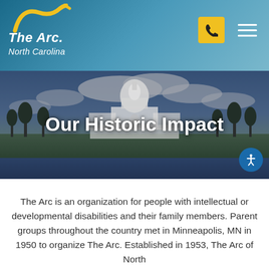[Figure (logo): The Arc of North Carolina logo with yellow arc swoosh graphic and white italic text 'The Arc. North Carolina' on blue-teal gradient background]
[Figure (photo): Photo of the US Capitol building with trees and a reflecting pool in the foreground under a partly cloudy sky, used as hero banner background]
Our Historic Impact
The Arc is an organization for people with intellectual or developmental disabilities and their family members. Parent groups throughout the country met in Minneapolis, MN in 1950 to organize The Arc. Established in 1953, The Arc of North